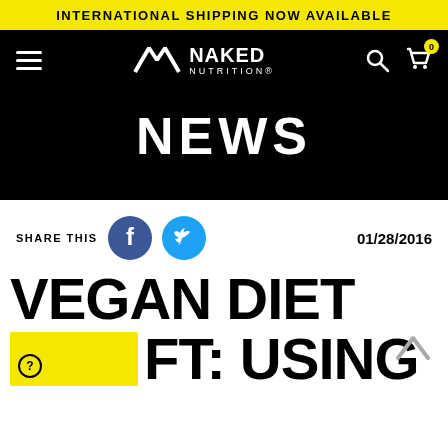INTERNATIONAL SHIPPING NOW AVAILABLE
[Figure (logo): Naked Nutrition logo with hamburger menu, search icon, and cart icon with 0 badge on black navbar]
NEWS
SHARE THIS   01/28/2016
VEGAN DIET FT: USING